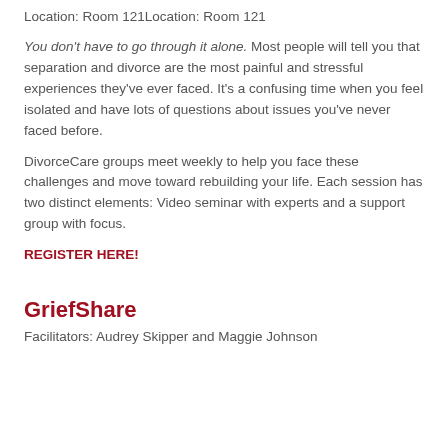Location: Room 121Location: Room 121
You don't have to go through it alone. Most people will tell you that separation and divorce are the most painful and stressful experiences they've ever faced. It's a confusing time when you feel isolated and have lots of questions about issues you've never faced before.
DivorceCare groups meet weekly to help you face these challenges and move toward rebuilding your life. Each session has two distinct elements: Video seminar with experts and a support group with focus.
REGISTER HERE!
GriefShare
Facilitators: Audrey Skipper and Maggie Johnson